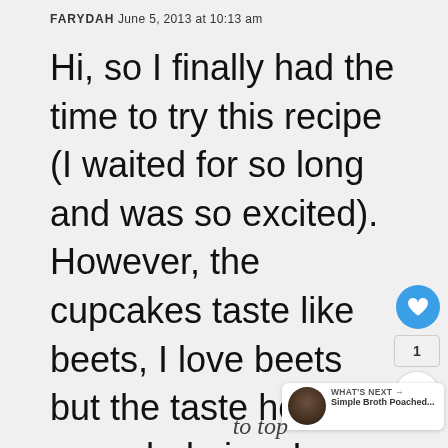FARYDAH June 5, 2013 at 10:13 am
Hi, so I finally had the time to try this recipe (I waited for so long and was so excited). However, the cupcakes taste like beets, I love beets but the taste here is overwhelming, I am